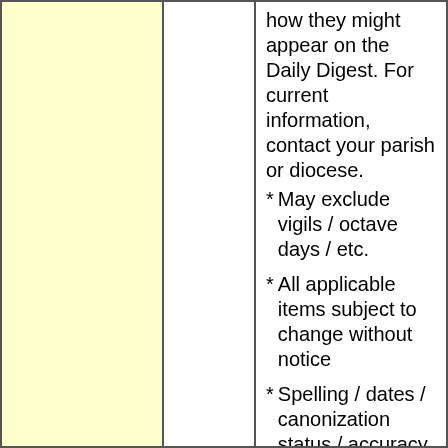how they might appear on the Daily Digest. For current information, contact your parish or diocese.
* May exclude vigils / octave days / etc.
* All applicable items subject to change without notice
* Spelling / dates / canonization status / accuracy / completeness / etc. of items not guaranteed. We do not guarantee the accuracy of any item. We are not responsible for any errors. We make no guarantee